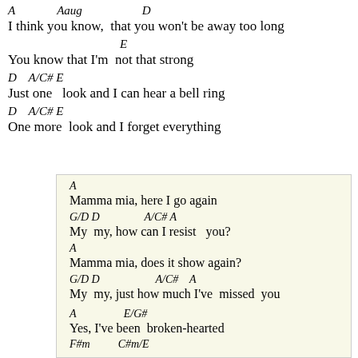A    Aaug    D
I think you know,  that you won't be away too long
E
You know that I'm  not that strong
D    A/C# E
Just one   look and I can hear a bell ring
D    A/C# E
One more  look and I forget everything
A
Mamma mia, here I go again
G/D D                A/C# A
My  my, how can I resist   you?
A
Mamma mia, does it show again?
G/D D                     A/C#    A
My  my, just how much I've  missed  you

A                  E/G#
Yes, I've been  broken-hearted
F#m         C#m/E